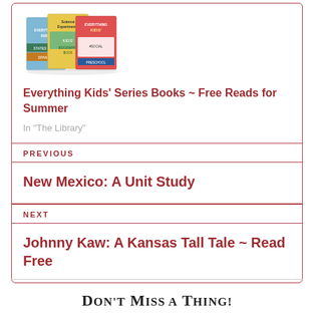[Figure (illustration): Stack of colorful children's book covers from the Everything Kids' series]
Everything Kids' Series Books ~ Free Reads for Summer
In "The Library"
PREVIOUS
New Mexico: A Unit Study
NEXT
Johnny Kaw: A Kansas Tall Tale ~ Read Free
Don't Miss a Thing!